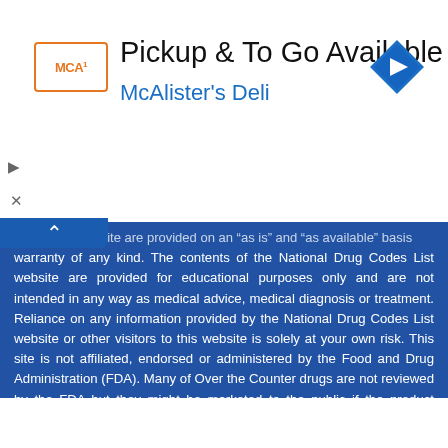[Figure (other): McAlister's Deli advertisement banner with logo, 'Pickup & To Go Available' heading, and navigation icon]
...ts of this website are provided on an 'as is' and 'as available' basis warranty of any kind. The contents of the National Drug Codes List website are provided for educational purposes only and are not intended in any way as medical advice, medical diagnosis or treatment. Reliance on any information provided by the National Drug Codes List website or other visitors to this website is solely at your own risk. This site is not affiliated, endorsed or administered by the Food and Drug Administration (FDA). Many of Over the Counter drugs are not reviewed by the FDA but they might be marketed to the public if the product complies with the applicable rules and regulations. The information in this website is intended for healthcare providers and consumers in the United States. The absence of a warning or notice for a given drug or drug combination is not indication that the drug or drug combination are safe, appropriate or effective for any given patient. If you have questions or concerns about the substances you are taking, check with your healthcare provider.
If you think you may have a medical emergency, please call your doctor or 911 immediately.